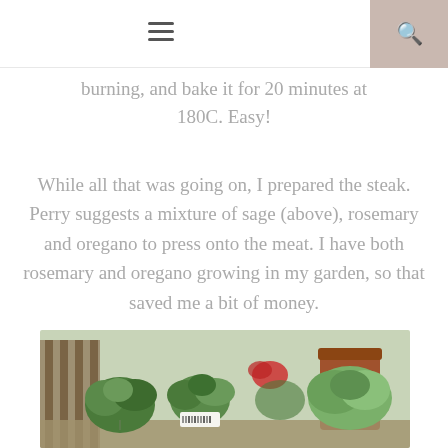≡  🔍
burning, and bake it for 20 minutes at 180C. Easy!
While all that was going on, I prepared the steak. Perry suggests a mixture of sage (above), rosemary and oregano to press onto the meat. I have both rosemary and oregano growing in my garden, so that saved me a bit of money.
[Figure (photo): Garden herbs in pots on a wooden table — includes various green herbs, terracotta pots, a wooden chair in the background]